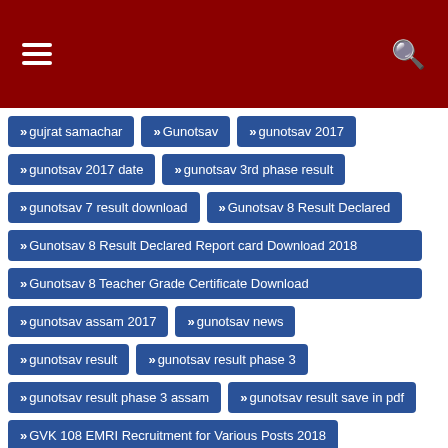Navigation header with hamburger menu and search icon
gujrat samachar
Gunotsav
gunotsav 2017
gunotsav 2017 date
gunotsav 3rd phase result
gunotsav 7 result download
Gunotsav 8 Result Declared
Gunotsav 8 Result Declared Report card Download 2018
Gunotsav 8 Teacher Grade Certificate Download
gunotsav assam 2017
gunotsav news
gunotsav result
gunotsav result phase 3
gunotsav result phase 3 assam
gunotsav result save in pdf
GVK 108 EMRI Recruitment for Various Posts 2018
GVK EMRI 108 Recruitment
GVK EMRI 108 Recruitment for Medical Officer amp; Pharmacist
GVK EMRI 108 Recruitment for Pharmacist Posts 2018